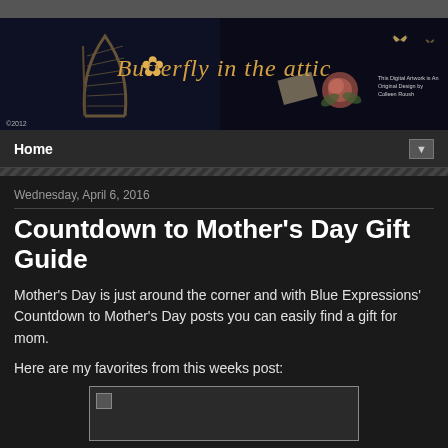[Figure (illustration): Butterfly in the attic blog banner with decorative golden/bronze script title text, butterfly and harp imagery on dark background. Copyright 2012 note and 'This Digital Artwork is An Original Design by Colleen Roush' text on right.]
Home ▼
Wednesday, April 6, 2016
Countdown to Mother's Day Gift Guide
Mother's Day is just around the corner and with Blue Expressions' Countdown to Mother's Day posts you can easily find a gift for mom.
Here are my favorites from this weeks post:
[Figure (photo): Partially visible product image placeholder at the bottom of the page]